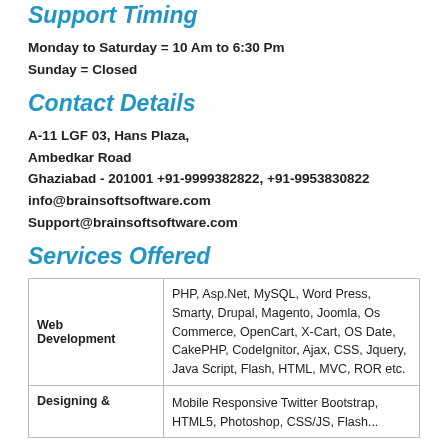Support Timing
Monday to Saturday = 10 Am to 6:30 Pm
Sunday = Closed
Contact Details
A-11 LGF 03, Hans Plaza,
Ambedkar Road
Ghaziabad - 201001 +91-9999382822, +91-9953830822
info@brainsoftsoftware.com
Support@brainsoftsoftware.com
Services Offered
|  |  |
| --- | --- |
| Web Development | PHP, Asp.Net, MySQL, Word Press, Smarty, Drupal, Magento, Joomla, Os Commerce, OpenCart, X-Cart, OS Date, CakePHP, CodeIgnitor, Ajax, CSS, Jquery, Java Script, Flash, HTML, MVC, ROR etc. |
| Designing &... | Mobile Responsive Twitter Bootstrap, HTML5, Photoshop, CSS/JS, Flash... |